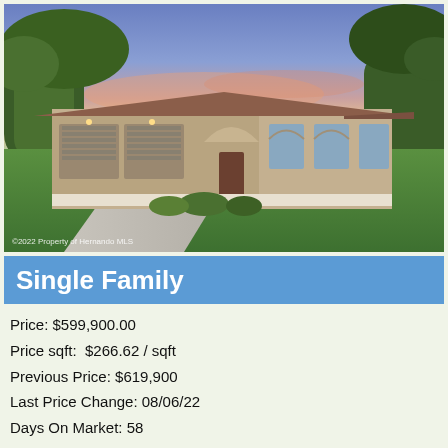[Figure (photo): Exterior photo of a single-story residential home with brown tile roof, stucco finish, three-car garage, arched windows and entry, green lawn and driveway, sunset/dusk sky. Watermark reads: ©2022 Property of Hernando MLS]
Single Family
Price: $599,900.00
Price sqft:  $266.62 / sqft
Previous Price: $619,900
Last Price Change: 08/06/22
Days On Market: 58
Bedrooms: 4